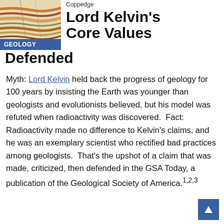[Figure (photo): Thumbnail image of geological rock strata layers with colorful sediment lines, with a blue 'GEOLOGY' badge overlaid at the bottom.]
Lord Kelvin's Core Values Defended
Myth: Lord Kelvin held back the progress of geology for 100 years by insisting the Earth was younger than geologists and evolutionists believed, but his model was refuted when radioactivity was discovered.  Fact: Radioactivity made no difference to Kelvin's claims, and he was an exemplary scientist who rectified bad practices among geologists.  That's the upshot of a claim that was made, criticized, then defended in the GSA Today, a publication of the Geological Society of America.1,2,3